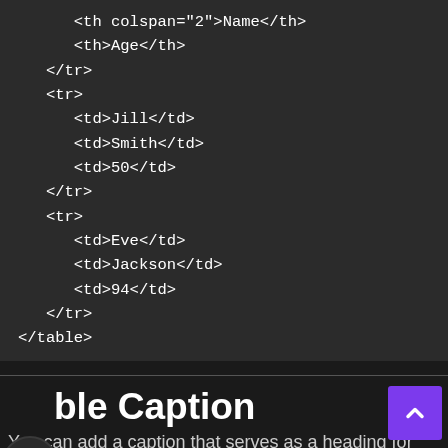<th colspan="2">Name</th>
    <th>Age</th>
  </tr>
  <tr>
      <td>Jill</td>
      <td>Smith</td>
      <td>50</td>
  </tr>
  <tr>
      <td>Eve</td>
      <td>Jackson</td>
      <td>94</td>
  </tr>
</table>
Table Caption
You can add a caption that serves as a heading for